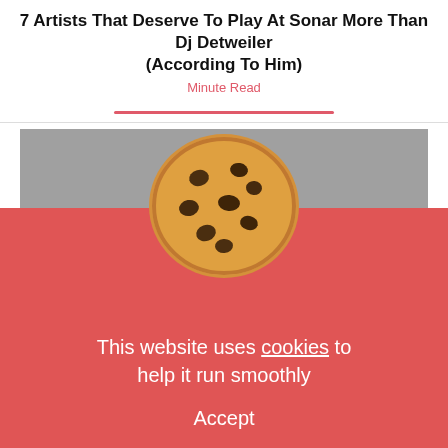7 Artists That Deserve To Play At Sonar More Than Dj Detweiler (According To Him)
Minute Read
[Figure (other): Gray advertisement/embed block with a Privacy policy label in the lower left corner]
1. GFOTY B2B Grimes (dj set)
This needs to hap... OTY and Grimes
[Figure (illustration): Cookie emoji / chocolate chip cookie illustration overlapping the cookie consent banner]
This website uses cookies to help it run smoothly
Accept